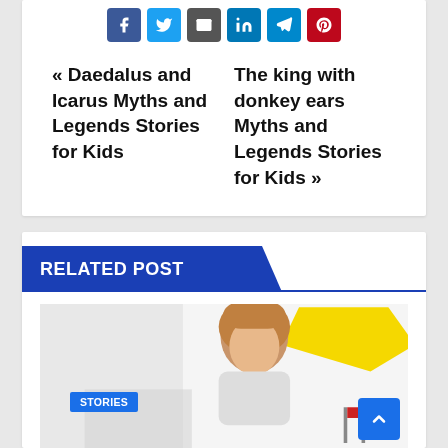[Figure (other): Social media share buttons: Facebook, Twitter, Email, LinkedIn, Telegram, Pinterest]
« Daedalus and Icarus Myths and Legends Stories for Kids
The king with donkey ears Myths and Legends Stories for Kids »
RELATED POST
[Figure (photo): Photo of a smiling girl with a yellow speech bubble shape in background, with a STORIES badge overlay at bottom left]